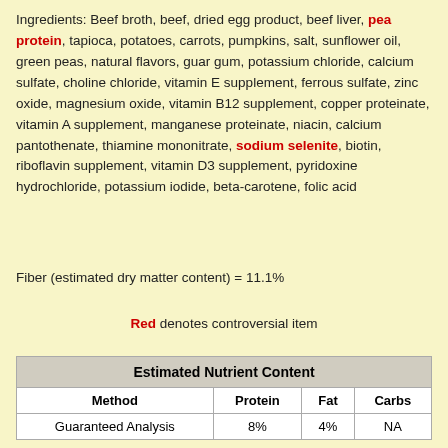Ingredients: Beef broth, beef, dried egg product, beef liver, pea protein, tapioca, potatoes, carrots, pumpkins, salt, sunflower oil, green peas, natural flavors, guar gum, potassium chloride, calcium sulfate, choline chloride, vitamin E supplement, ferrous sulfate, zinc oxide, magnesium oxide, vitamin B12 supplement, copper proteinate, vitamin A supplement, manganese proteinate, niacin, calcium pantothenate, thiamine mononitrate, sodium selenite, biotin, riboflavin supplement, vitamin D3 supplement, pyridoxine hydrochloride, potassium iodide, beta-carotene, folic acid
Fiber (estimated dry matter content) = 11.1%
Red denotes controversial item
| Method | Protein | Fat | Carbs |
| --- | --- | --- | --- |
| Guaranteed Analysis | 8% | 4% | NA |